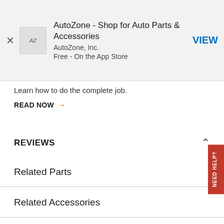[Figure (screenshot): AutoZone app banner with icon, title 'AutoZone - Shop for Auto Parts & Accessories', company 'AutoZone, Inc.', 'Free - On the App Store', and a VIEW button]
Learn how to do the complete job.
READ NOW →
REVIEWS
Related Parts
Related Accessories
Related Models